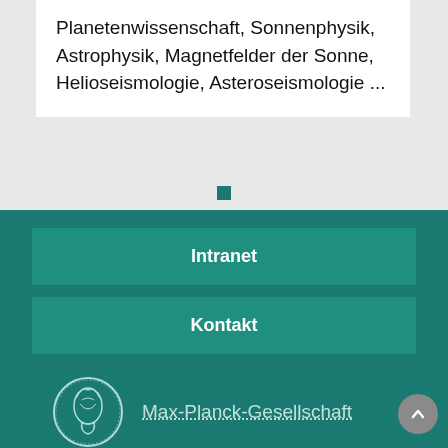Planetenwissenschaft, Sonnenphysik, Astrophysik, Magnetfelder der Sonne, Helioseismologie, Asteroseismologie ...
[Figure (other): Small teal square dot indicator for carousel/pagination]
Intranet
Kontakt
[Figure (logo): Max-Planck-Gesellschaft circular medallion logo with Minerva figure, white outline on teal background]
Max-Planck-Gesellschaft
Impressum    Datenschutzhinweis